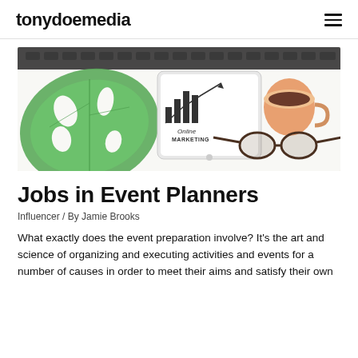tonydoemedia
[Figure (photo): Flat lay photo of a tablet showing 'Online Marketing' with a bar/line chart illustration, a tropical leaf, a cup of coffee, and glasses on a white desk surface with a keyboard in the background.]
Jobs in Event Planners
Influencer / By Jamie Brooks
What exactly does the event preparation involve? It's the art and science of organizing and executing activities and events for a number of causes in order to meet their aims and satisfy their own